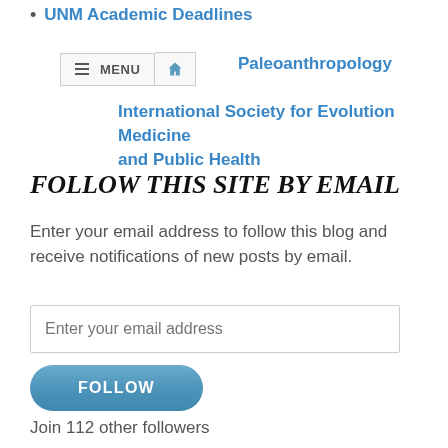UNM Academic Deadlines
Paleoanthropology
International Society for Evolution Medicine and Public Health
FOLLOW THIS SITE BY EMAIL
Enter your email address to follow this blog and receive notifications of new posts by email.
Enter your email address
FOLLOW
Join 112 other followers